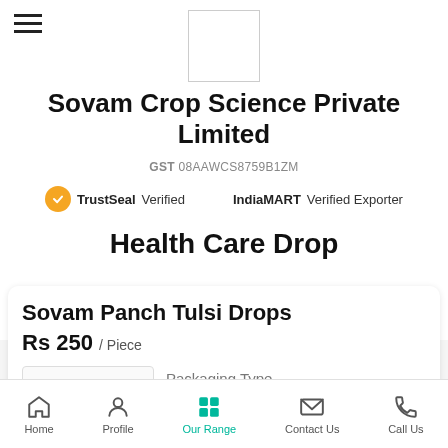[Figure (logo): Company logo placeholder box (white square with border)]
Sovam Crop Science Private Limited
GST 08AAWCS8759B1ZM
TrustSeal Verified   IndiaMART Verified Exporter
Health Care Drop
Sovam Panch Tulsi Drops
Rs 250 / Piece
Packaging Type
Bottle
Home   Profile   Our Range   Contact Us   Call Us